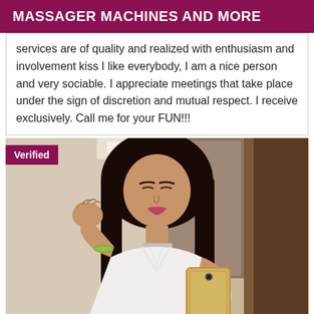MASSAGER MACHINES AND MORE
services are of quality and realized with enthusiasm and involvement kiss I like everybody, I am a nice person and very sociable. I appreciate meetings that take place under the sign of discretion and mutual respect. I receive exclusively. Call me for your FUN!!!
[Figure (photo): A young woman with long dark hair taking a mirror selfie holding a gold glitter phone case, wearing a white strappy top, jewelry including a choker necklace and beaded bracelet, with a 'Verified' badge overlay in the top left corner.]